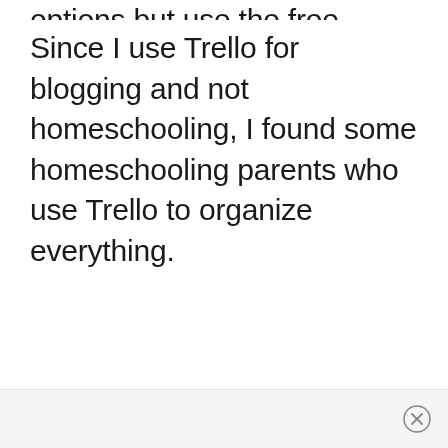options but use the free version.
Since I use Trello for blogging and not homeschooling, I found some homeschooling parents who use Trello to organize everything.